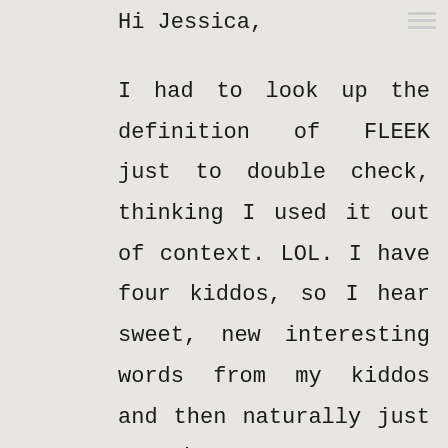Hi Jessica,
I had to look up the definition of FLEEK just to double check, thinking I used it out of context. LOL. I have four kiddos, so I hear sweet, new interesting words from my kiddos and then naturally just say them too.